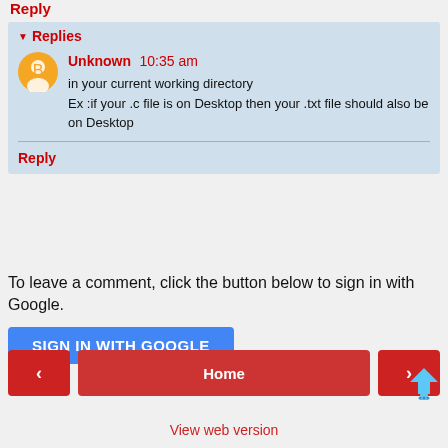Reply
Replies
Unknown 10:35 am
in your current working directory
Ex :if your .c file is on Desktop then your .txt file should also be on Desktop
Reply
To leave a comment, click the button below to sign in with Google.
SIGN IN WITH GOOGLE
Home
View web version